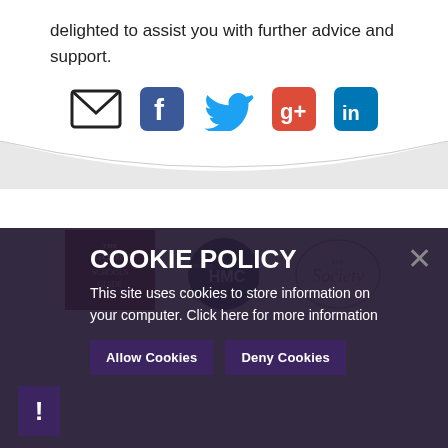delighted to assist you with further advice and support.
[Figure (other): Social media icons: email, Facebook, Twitter, Google+, LinkedIn]
[Figure (other): Logos strip: The Good Schools Guide, Leading HMC, The Society]
COOKIE POLICY
This site uses cookies to store information on your computer. Click here for more information
Allow Cookies   Deny Cookies